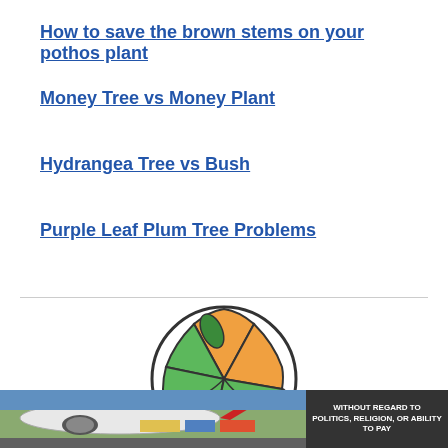How to save the brown stems on your pothos plant
Money Tree vs Money Plant
Hydrangea Tree vs Bush
Purple Leaf Plum Tree Problems
[Figure (logo): Circular plant/leaf logo with green and orange sections forming a stylized globe with leaves]
[Figure (photo): Airplane cargo loading photo with advertisement overlay reading WITHOUT REGARD TO POLITICS, RELIGION, OR ABILITY TO PAY]